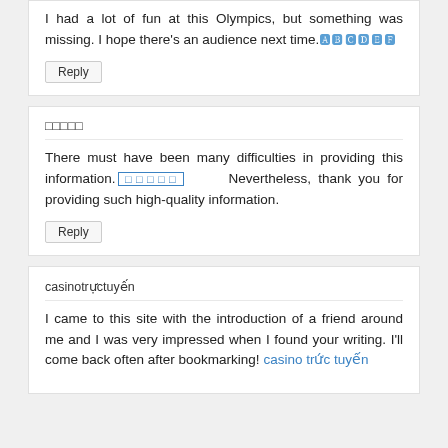I had a lot of fun at this Olympics, but something was missing. I hope there's an audience next time. [emoji]
Reply
[author name in Japanese/Chinese characters]
There must have been many difficulties in providing this information. [emoji] Nevertheless, thank you for providing such high-quality information.
Reply
casinotrựctuyến
I came to this site with the introduction of a friend around me and I was very impressed when I found your writing. I'll come back often after bookmarking! casino trức tuyến